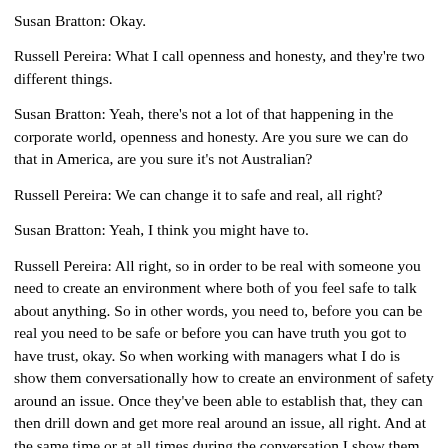Susan Bratton: Okay.
Russell Pereira: What I call openness and honesty, and they're two different things.
Susan Bratton: Yeah, there's not a lot of that happening in the corporate world, openness and honesty. Are you sure we can do that in America, are you sure it's not Australian?
Russell Pereira: We can change it to safe and real, all right?
Susan Bratton: Yeah, I think you might have to.
Russell Pereira: All right, so in order to be real with someone you need to create an environment where both of you feel safe to talk about anything. So in other words, you need to, before you can be real you need to be safe or before you can have truth you got to have trust, okay. So when working with managers what I do is show them conversationally how to create an environment of safety around an issue. Once they've been able to establish that, they can then drill down and get more real around an issue, all right. And at the same time or at all times during the conversation I show them how to assess the safety and to notice just micro changes that could lead to the dialogue moving at risk. And then if it does move at risk I'll give them three ways of how to recover